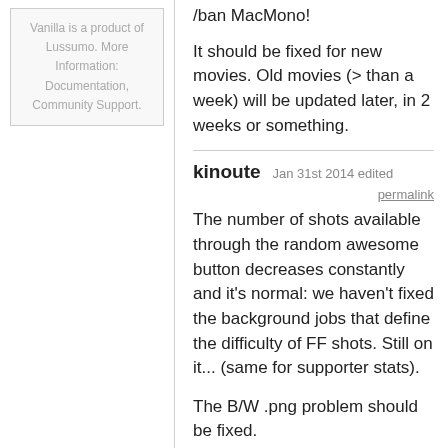Vanilla is a product of Lussumo. More Information: Documentation, Community Support.
/ban MacMono!
It should be fixed for new movies. Old movies (> than a week) will be updated later, in 2 weeks or something.
kinoute Jan 31st 2014 edited
permalink
The number of shots available through the random awesome button decreases constantly and it's normal: we haven't fixed the background jobs that define the difficulty of FF shots. Still on it... (same for supporter stats).
The B/W .png problem should be fixed.